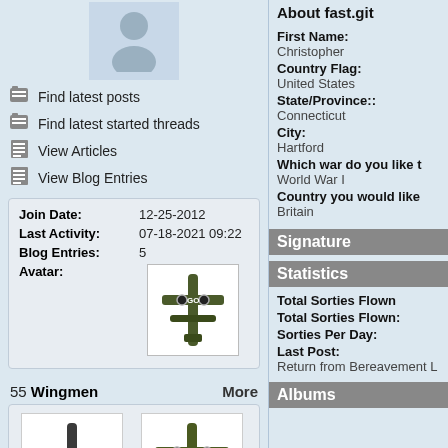[Figure (illustration): Gray silhouette avatar placeholder image]
Find latest posts
Find latest started threads
View Articles
View Blog Entries
| Join Date: | 12-25-2012 |
| Last Activity: | 07-18-2021 09:22 |
| Blog Entries: | 5 |
| Avatar: |  |
[Figure (illustration): Top-down view of a military biplane with GO markings, dark green/olive color]
55 Wingmen More
[Figure (illustration): Top-down view of a dark gray/green military aircraft - Jager]
[Figure (illustration): Top-down view of a dark olive military biplane with K marking - Flying Officer Kyte]
Jager
Flying Officer Kyte
About fast.git
First Name: Christopher
Country Flag: United States
State/Province:: Connecticut
City: Hartford
Which war do you like t World War I
Country you would like Britain
Signature
Statistics
Total Sorties Flown
Total Sorties Flown:
Sorties Per Day:
Last Post:
Return from Bereavement L
Albums